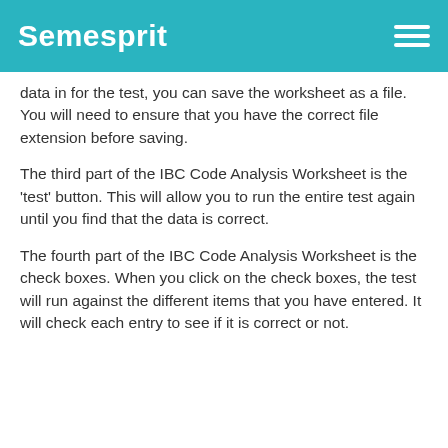Semesprit
data in for the test, you can save the worksheet as a file. You will need to ensure that you have the correct file extension before saving.
The third part of the IBC Code Analysis Worksheet is the 'test' button. This will allow you to run the entire test again until you find that the data is correct.
The fourth part of the IBC Code Analysis Worksheet is the check boxes. When you click on the check boxes, the test will run against the different items that you have entered. It will check each entry to see if it is correct or not.